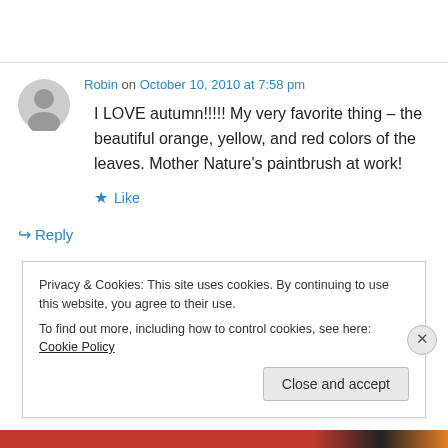Robin on October 10, 2010 at 7:58 pm
I LOVE autumn!!!!! My very favorite thing – the beautiful orange, yellow, and red colors of the leaves. Mother Nature's paintbrush at work!
★ Like
↪ Reply
Privacy & Cookies: This site uses cookies. By continuing to use this website, you agree to their use.
To find out more, including how to control cookies, see here: Cookie Policy